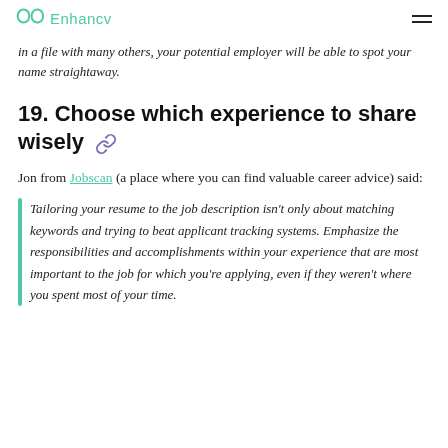Enhancv
in a file with many others, your potential employer will be able to spot your name straightaway.
19. Choose which experience to share wisely
Jon from Jobscan (a place where you can find valuable career advice) said:
Tailoring your resume to the job description isn't only about matching keywords and trying to beat applicant tracking systems. Emphasize the responsibilities and accomplishments within your experience that are most important to the job for which you're applying, even if they weren't where you spent most of your time.